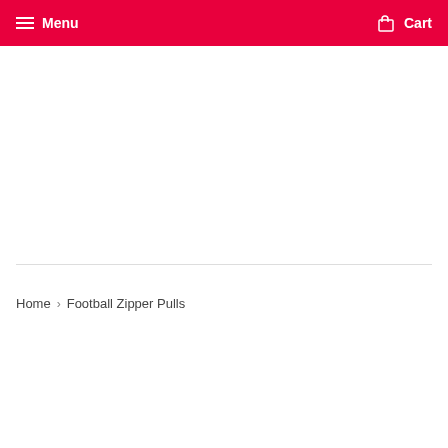Menu  Cart
Home › Football Zipper Pulls